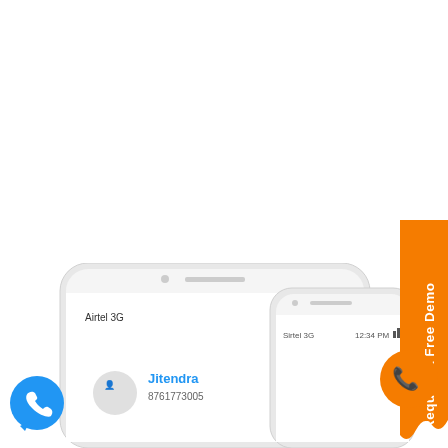[Figure (screenshot): Two overlapping smartphone screens showing a mobile app interface. The left phone shows a screen with 'Airtel 3G' network indicator and time '12:32 PM', with a contact name 'Jitendra' and number '8761773005' partially visible. There is a blue circular phone/chat icon in the bottom left. The right phone shows 'Sirtel 3G' network and time '12:34 PM' partially visible. An orange circular icon appears at the right edge. The phones are light gray/white colored with rounded corners and occupy the bottom portion of the image. The upper portion of the page is white/empty.]
[Figure (infographic): Orange vertical banner on the right side reading 'Request a Free Demo' in white text, rotated 90 degrees (reading bottom to top). The banner has a torn/wavy bottom edge.]